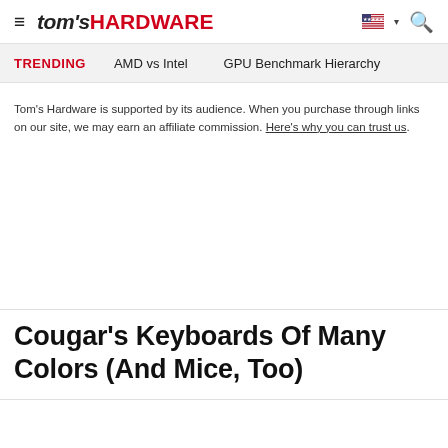tom's HARDWARE
TRENDING   AMD vs Intel   GPU Benchmark Hierarchy
Tom's Hardware is supported by its audience. When you purchase through links on our site, we may earn an affiliate commission. Here's why you can trust us.
Cougar's Keyboards Of Many Colors (And Mice, Too)